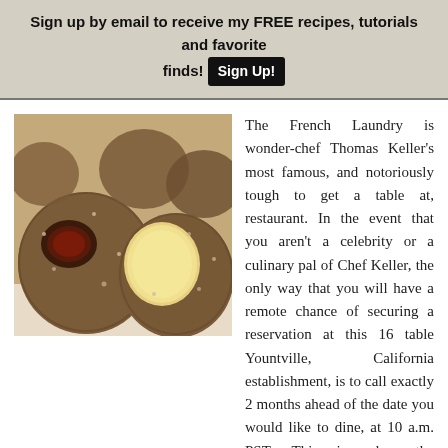Sign up by email to receive my FREE recipes, tutorials and favorite finds! [Sign Up!]
[Figure (photo): Close-up photo of sugar-coated donut holes, one cut open showing jam filling, another showing yellow cake interior]
The French Laundry is wonder-chef Thomas Keller's most famous, and notoriously tough to get a table at, restaurant. In the event that you aren't a celebrity or a culinary pal of Chef Keller, the only way that you will have a remote chance of securing a reservation at this 16 table Yountville, California establishment, is to call exactly 2 months ahead of the date you would like to dine, at 10 a.m. PST. This is when the management releases the tables, and they are generally sold out faster than tickets to a Hannah